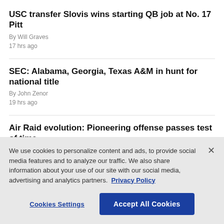USC transfer Slovis wins starting QB job at No. 17 Pitt
By Will Graves
17 hrs ago
SEC: Alabama, Georgia, Texas A&M in hunt for national title
By John Zenor
19 hrs ago
Air Raid evolution: Pioneering offense passes test of time
By Ralph D. Russo
We use cookies to personalize content and ads, to provide social media features and to analyze our traffic. We also share information about your use of our site with our social media, advertising and analytics partners. Privacy Policy
Cookies Settings
Accept All Cookies